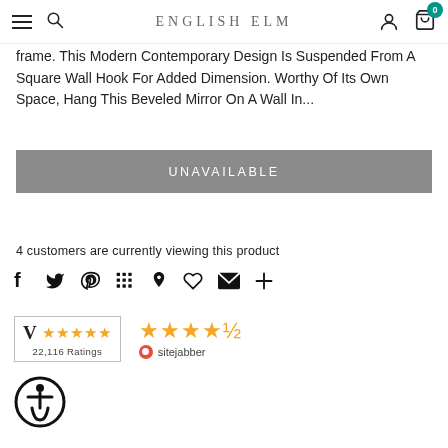ENGLISH ELM
frame. This Modern Contemporary Design Is Suspended From A Square Wall Hook For Added Dimension. Worthy Of Its Own Space, Hang This Beveled Mirror On A Wall In...
UNAVAILABLE
4 customers are currently viewing this product
[Figure (other): Social share icons: Facebook, Twitter, Pinterest, Grid/apps, Location pin, Heart, Email, Plus]
[Figure (other): ResellerRatings badge showing 4.5 stars and 22,116 Ratings]
[Figure (other): Sitejabber badge showing approximately 4.5 stars]
[Figure (other): Accessibility icon - circular wheelchair accessibility symbol]